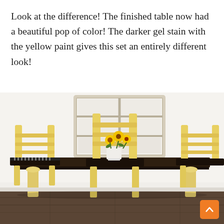Look at the difference!  The finished table now had a beautiful pop of color!  The darker gel stain with the yellow paint gives this set an entirely different look!
[Figure (photo): A dining table and chairs painted yellow with dark stained seats, a white-framed vintage window hanging on the wall behind, and yellow flowers in a vase on the table. An orange back-to-top button appears in the lower right corner.]